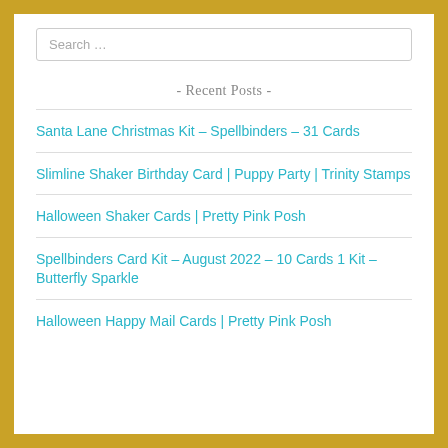Search …
- Recent Posts -
Santa Lane Christmas Kit – Spellbinders – 31 Cards
Slimline Shaker Birthday Card | Puppy Party | Trinity Stamps
Halloween Shaker Cards | Pretty Pink Posh
Spellbinders Card Kit – August 2022 – 10 Cards 1 Kit – Butterfly Sparkle
Halloween Happy Mail Cards | Pretty Pink Posh